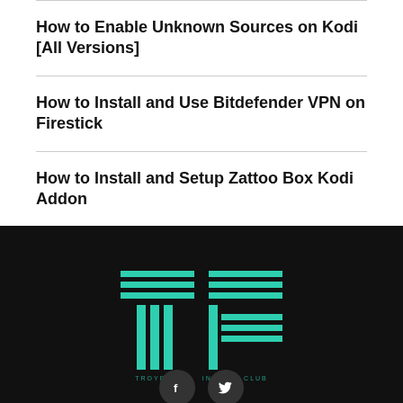How to Enable Unknown Sources on Kodi [All Versions]
How to Install and Use Bitdefender VPN on Firestick
How to Install and Setup Zattoo Box Kodi Addon
[Figure (logo): TF logo in teal/green lines on dark background, resembling stylized letters T and F made of horizontal and vertical stripes]